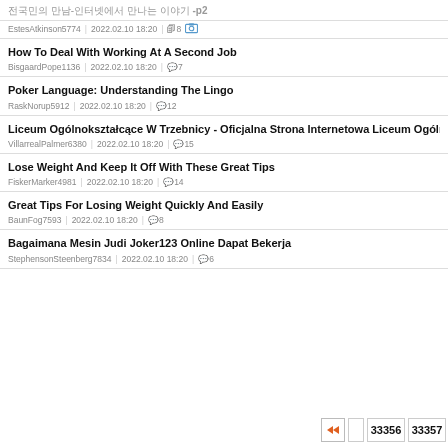전국민의 만남-인터넷에서 만나는 이야기 -p2
EstesAtkinson5774 | 2022.02.10 18:20 | 🖼8
How To Deal With Working At A Second Job
BisgaardPope1136 | 2022.02.10 18:20 | 💬7
Poker Language: Understanding The Lingo
RaskNorup5912 | 2022.02.10 18:20 | 💬12
Liceum Ogólnokształcące W Trzebnicy - Oficjalna Strona Internetowa Liceum Ogólnokszt...
VillarrealPalmer6380 | 2022.02.10 18:20 | 💬15
Lose Weight And Keep It Off With These Great Tips
FiskerMarker4981 | 2022.02.10 18:20 | 💬14
Great Tips For Losing Weight Quickly And Easily
BaunFog7593 | 2022.02.10 18:20 | 💬8
Bagaimana Mesin Judi Joker123 Online Dapat Bekerja
StephensonSteenberg7834 | 2022.02.10 18:20 | 💬6
◀◀  33356  33357